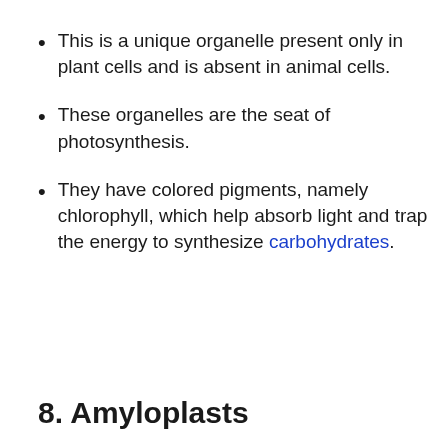This is a unique organelle present only in plant cells and is absent in animal cells.
These organelles are the seat of photosynthesis.
They have colored pigments, namely chlorophyll, which help absorb light and trap the energy to synthesize carbohydrates.
8. Amyloplasts